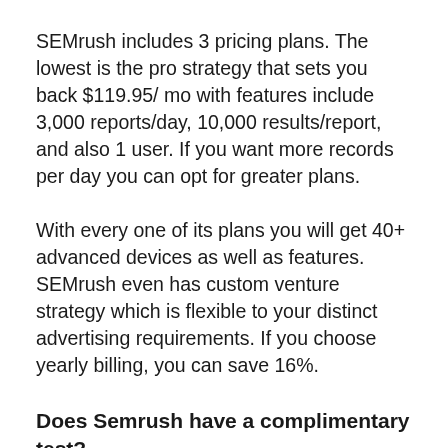SEMrush includes 3 pricing plans. The lowest is the pro strategy that sets you back $119.95/ mo with features include 3,000 reports/day, 10,000 results/report, and also 1 user. If you want more records per day you can opt for greater plans.
With every one of its plans you will get 40+ advanced devices as well as features. SEMrush even has custom venture strategy which is flexible to your distinct advertising requirements. If you choose yearly billing, you can save 16%.
Does Semrush have a complimentary test?
With a free account, you can still utilize a lot